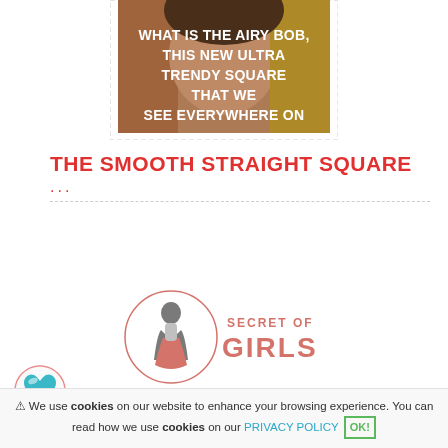[Figure (photo): Photo of a woman with a bob hairstyle, colorful background with yellow and warm tones, with white bold text overlay reading: WHAT IS THE AIRY BOB, THIS NEW ULTRA TRENDY SQUARE THAT WE SEE EVERYWHERE ON]
THE SMOOTH STRAIGHT SQUARE
...
[Figure (logo): Secret of Girls logo — a pink silhouette of a woman in a dress inside a circle, with text SECRET OF GIRLS in pink/salmon color]
[Figure (illustration): A teal/blue heart icon with a glossy reflection highlight]
⚠ We use cookies on our website to enhance your browsing experience. You can read how we use cookies on our PRIVACY POLICY OK!